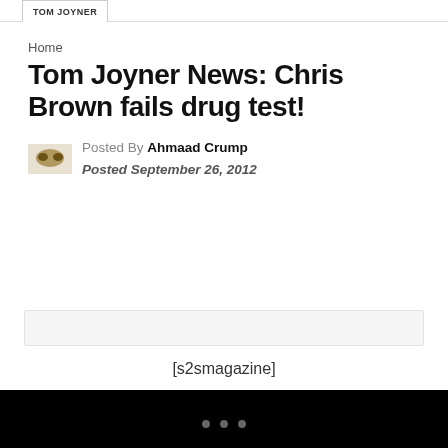TOM JOYNER
Home
Tom Joyner News: Chris Brown fails drug test!
Posted By Ahmaad Crump
Posted September 26, 2012
[s2smagazine]